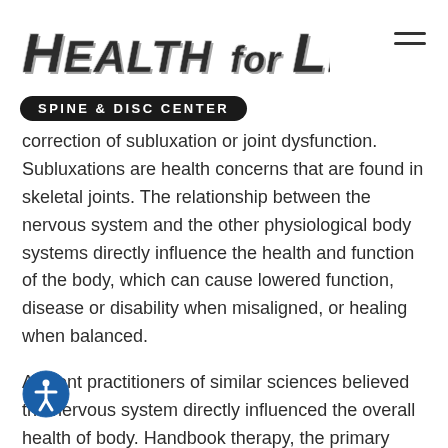[Figure (logo): Health for Life Spine & Disc Center logo with stylized italic text and black rounded rectangle banner, plus hamburger menu icon]
correction of subluxation or joint dysfunction. Subluxations are health concerns that are found in skeletal joints. The relationship between the nervous system and the other physiological body systems directly influence the health and function of the body, which can cause lowered function, disease or disability when misaligned, or healing when balanced.
Ancient practitioners of similar sciences believed the nervous system directly influenced the overall health of body. Handbook therapy, the primary chiropractor treatment procedure, is the manipulation of the spine